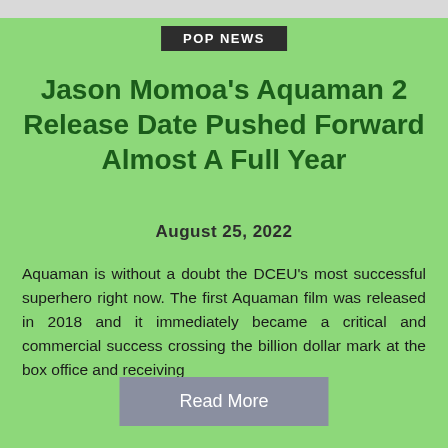POP NEWS
Jason Momoa's Aquaman 2 Release Date Pushed Forward Almost A Full Year
August 25, 2022
Aquaman is without a doubt the DCEU's most successful superhero right now. The first Aquaman film was released in 2018 and it immediately became a critical and commercial success crossing the billion dollar mark at the box office and receiving
Read More